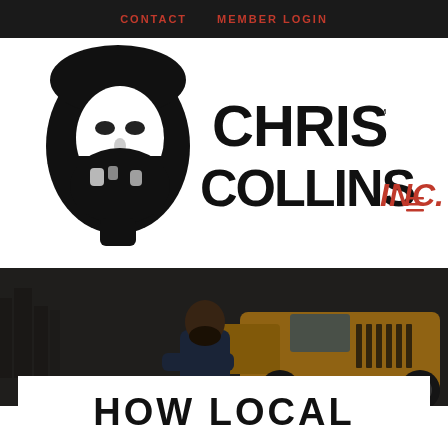CONTACT   MEMBER LOGIN
[Figure (logo): Chris Collins Inc. logo — black illustrated bearded face silhouette on left, bold black stylized text CHRIS COLLINS with orange INC. on right, TM superscript]
[Figure (photo): Bearded man with arms crossed leaning against a yellow Jeep Wrangler, city skyline visible in dark background]
HOW LOCAL